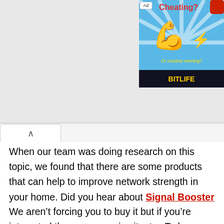[Figure (screenshot): Advertisement banner for BitLife app showing a flexing arm emoji, text 'Cheating? Or creative winning?' and BitLife logo, with an Install button]
When our team was doing research on this topic, we found that there are some products that can help to improve network strength in your home. Did you hear about Signal Booster created by SureCall? We haven't tested it yet but it looks like the product is currently very popular on Amazon with 3.3K+ ratings.
We aren't forcing you to buy it but if you're interested then you can give it a try. To be